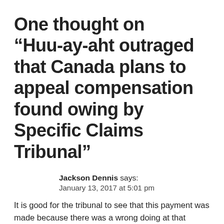One thought on “Huu-ay-aht outraged that Canada plans to appeal compensation found owing by Specific Claims Tribunal”
Jackson Dennis says:
January 13, 2017 at 5:01 pm
It is good for the tribunal to see that this payment was made because there was a wrong doing at that time....they the government should stick to reconciliation and move forward with all first